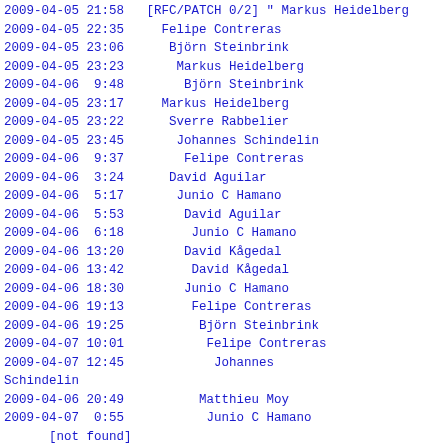2009-04-05 21:58   [RFC/PATCH 0/2] " Markus Heidelberg
2009-04-05 22:35     Felipe Contreras
2009-04-05 23:06      Björn Steinbrink
2009-04-05 23:23       Markus Heidelberg
2009-04-06  9:48        Björn Steinbrink
2009-04-05 23:17     Markus Heidelberg
2009-04-05 23:22      Sverre Rabbelier
2009-04-05 23:45       Johannes Schindelin
2009-04-06  9:37        Felipe Contreras
2009-04-06  3:24      David Aguilar
2009-04-06  5:17       Junio C Hamano
2009-04-06  5:53        David Aguilar
2009-04-06  6:18         Junio C Hamano
2009-04-06 13:20        David Kågedal
2009-04-06 13:42         David Kågedal
2009-04-06 18:30        Junio C Hamano
2009-04-06 19:13         Felipe Contreras
2009-04-06 19:25          Björn Steinbrink
2009-04-07 10:01           Felipe Contreras
2009-04-07 12:45            Johannes Schindelin
2009-04-06 20:49          Matthieu Moy
2009-04-07  0:55           Junio C Hamano
[not found]
<87skkligzb.fsf@krank.kagedal.org>
2009-04-07  1:02                Junio C Hamano
2009-04-07  8:39                 Octavio Alvarez
[not found]
<878wmcj1fs.fsf@krank.kagedal.org>
2009-04-07 15:01                  Octavio